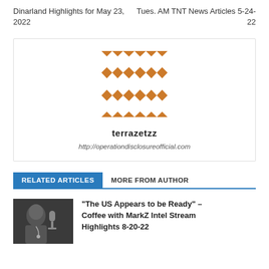Dinarland Highlights for May 23, 2022
Tues. AM TNT News Articles 5-24-22
[Figure (illustration): Author avatar — orange/white geometric quilt-pattern square icon]
terrazetzz
http://operationdisclosureofficial.com
RELATED ARTICLES  MORE FROM AUTHOR
"The US Appears to be Ready" – Coffee with MarkZ Intel Stream Highlights 8-20-22